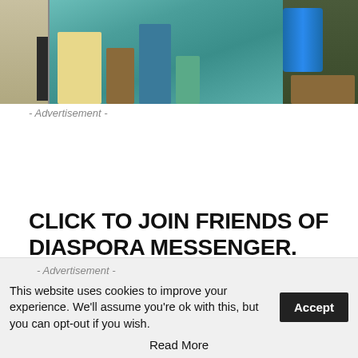[Figure (photo): Photo of a shop interior with colorful bags, textiles and a blue barrel on display]
- Advertisement -
CLICK TO JOIN FRIENDS OF DIASPORA MESSENGER.
- Advertisement -
- Advertisement -
This website uses cookies to improve your experience. We'll assume you're ok with this, but you can opt-out if you wish.
Accept
Read More